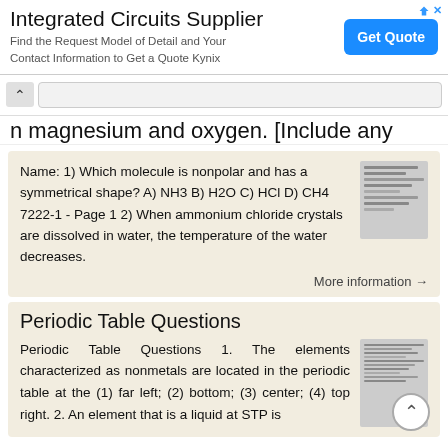[Figure (screenshot): Advertisement banner for Integrated Circuits Supplier with Get Quote button]
n magnesium and oxygen. [Include any
Name: 1) Which molecule is nonpolar and has a symmetrical shape? A) NH3 B) H2O C) HCl D) CH4 7222-1 - Page 1 2) When ammonium chloride crystals are dissolved in water, the temperature of the water decreases.
More information →
Periodic Table Questions
Periodic Table Questions 1. The elements characterized as nonmetals are located in the periodic table at the (1) far left; (2) bottom; (3) center; (4) top right. 2. An element that is a liquid at STP is